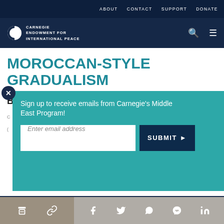ABOUT  CONTACT  SUPPORT  DONATE
[Figure (logo): Carnegie Endowment for International Peace logo with circular icon and text]
MOROCCAN-STYLE GRADUALISM
Partial body text visible behind overlay
[Figure (infographic): Email signup popup overlay with teal background. Text: Sign up to receive emails from Carnegie's Middle East Program! Email input field and SUBMIT button on dark navy background.]
our cookie policy.
[Figure (infographic): Bottom share bar with print, link, Facebook, Twitter, WhatsApp, Messenger, and LinkedIn icons]